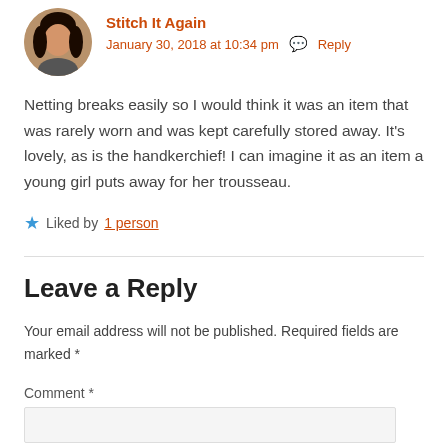Stitch It Again
January 30, 2018 at 10:34 pm  Reply
Netting breaks easily so I would think it was an item that was rarely worn and was kept carefully stored away. It's lovely, as is the handkerchief! I can imagine it as an item a young girl puts away for her trousseau.
Liked by 1 person
Leave a Reply
Your email address will not be published. Required fields are marked *
Comment *